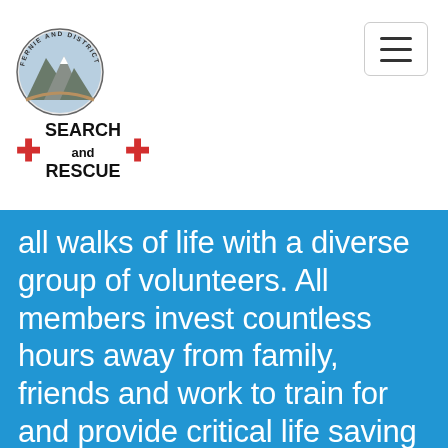[Figure (logo): Fernie and District Search and Rescue logo: circular emblem with mountain scene and red cross symbols with text SEARCH and RESCUE]
all walks of life with a diverse group of volunteers. All members invest countless hours away from family, friends and work to train for and provide critical life saving services to those in need. Our members train all year round in rescue techniques and